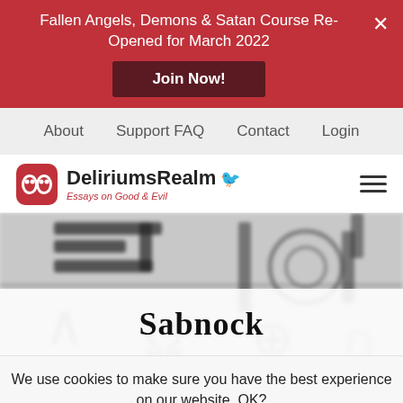Fallen Angels, Demons & Satan Course Re-Opened for March 2022
Join Now!
About   Support FAQ   Contact   Login
[Figure (logo): DeliriumsRealm logo with icon of two masked faces and a bird, tagline: Essays on Good & Evil]
[Figure (illustration): Blurred occult/alchemical symbols in black and white, with a title overlay reading 'Sabnock']
Sabnock
We use cookies to make sure you have the best experience on our website. OK?
Accept